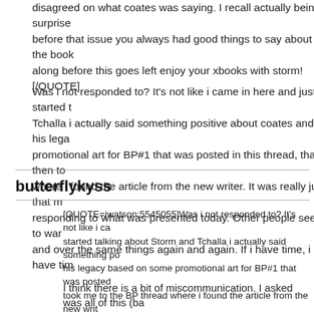disagreed on what coates was saying. I recall actually being surprise before that issue you always had good things to say about the book along before this goes left enjoy your xbooks with storm![/QUOTE]
Was i not responded to? It's not like i came in here and just started Tchalla i actually said something positive about coates and his legacy promotional art for BP#1 that was posted in this thread, that then to where i found the article from the new writer. It was really just that m responding to what was presented today. Other people seem to war and over the same things again and again. If i have time, i have tim
butterflykyss
[QUOTE=jwatson;5545055]Was i not responded to? It's not like i ca started talking about Storm and Tchalla i actually said something po his legacy based on some promotional art for BP#1 that was posted took me to the BP thread where i found the article from the new writ meaningless and me responding to what was presented today. Othe to go ove rand over and over the same things again and again. If i h lol[/QUOTE]
I think there is a bit of miscommunication. I asked was all of this (ba posters perceiving you should feel a certain way about seeing storm was a question not a statement. if you like the xbooks you are entitle initially had issue with the reveal she was still in the BP books but y